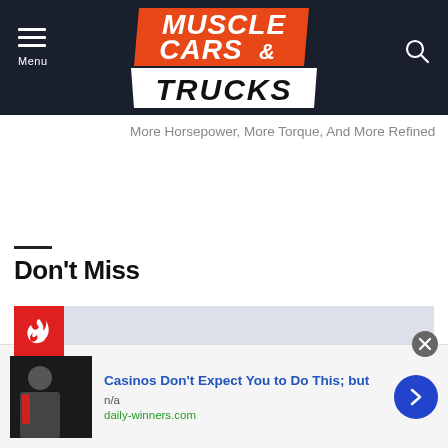[Figure (logo): Muscle Cars & Trucks logo on dark navy background with menu and search icons]
More Horsepower, More Torque, And More Refined
Don't Miss
[Figure (photo): Don't Miss section card: red hot badge with flame icon, partial view of a dark-colored vehicle/truck roof against grey sky]
Casinos Don't Expect You to Do This; but
n/a
daily-winners.com